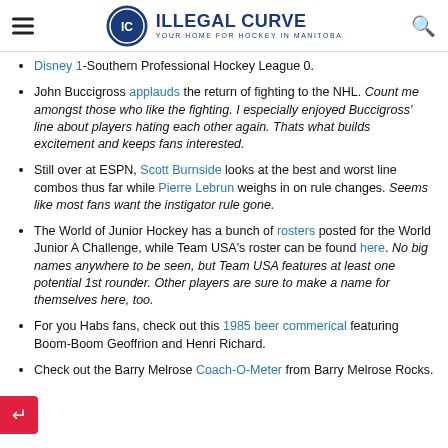IC ILLEGAL CURVE — YOUR HOME FOR HOCKEY IN MANITOBA
Disney 1-Southern Professional Hockey League 0.
John Buccigross applauds the return of fighting to the NHL. Count me amongst those who like the fighting. I especially enjoyed Buccigross' line about players hating each other again. Thats what builds excitement and keeps fans interested.
Still over at ESPN, Scott Burnside looks at the best and worst line combos thus far while Pierre Lebrun weighs in on rule changes. Seems like most fans want the instigator rule gone.
The World of Junior Hockey has a bunch of rosters posted for the World Junior A Challenge, while Team USA's roster can be found here. No big names anywhere to be seen, but Team USA features at least one potential 1st rounder. Other players are sure to make a name for themselves here, too.
For you Habs fans, check out this 1985 beer commerical featuring Boom-Boom Geoffrion and Henri Richard.
Check out the Barry Melrose Coach-O-Meter from Barry Melrose Rocks.